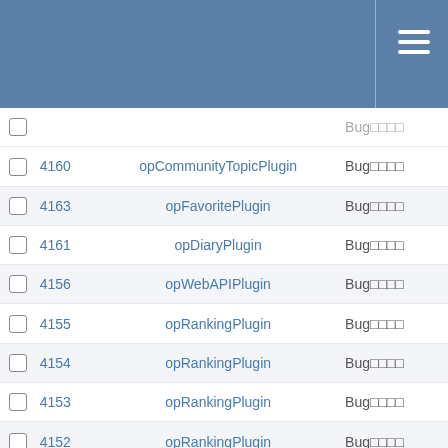|  | ID | Plugin | Type |
| --- | --- | --- | --- |
|  | 4160 | opCommunityTopicPlugin | Bug□□□□ |
|  | 4163 | opFavoritePlugin | Bug□□□□ |
|  | 4161 | opDiaryPlugin | Bug□□□□ |
|  | 4156 | opWebAPIPlugin | Bug□□□□ |
|  | 4155 | opRankingPlugin | Bug□□□□ |
|  | 4154 | opRankingPlugin | Bug□□□□ |
|  | 4153 | opRankingPlugin | Bug□□□□ |
|  | 4152 | opRankingPlugin | Bug□□□□ |
|  | 4151 | opDiaryPlugin | Bug□□□□ |
|  | 4150 | opAshiatoPlugin | Bug□□□□ |
|  | 3931 | OpenPNE 3 | Bug□□□□ |